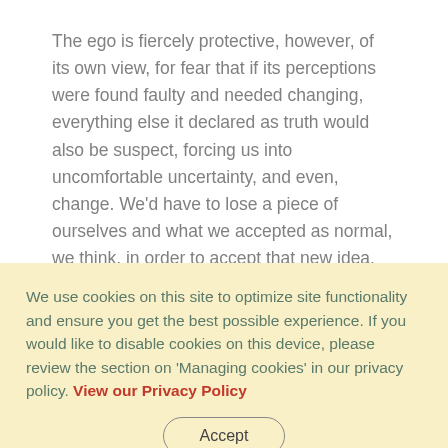The ego is fiercely protective, however, of its own view, for fear that if its perceptions were found faulty and needed changing, everything else it declared as truth would also be suspect, forcing us into uncomfortable uncertainty, and even, change. We'd have to lose a piece of ourselves and what we accepted as normal, we think, in order to accept that new idea. As physicist Max Planck declared, “Science
We use cookies on this site to optimize site functionality and ensure you get the best possible experience. If you would like to disable cookies on this device, please review the section on 'Managing cookies' in our privacy policy. View our Privacy Policy
Accept